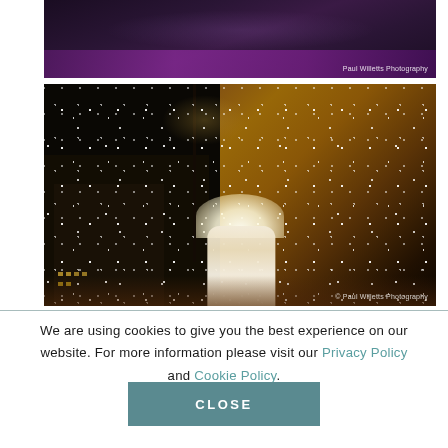[Figure (photo): Wedding reception dance floor scene with purple lighting, people in formal wear, photographer watermark 'Paul Willetts Photography']
[Figure (photo): Two brides in white wedding dresses standing under a clear umbrella in the rain at night, surrounded by sparkling lights on trees and warm building lights in background. Watermark: '© Paul Willetts Photography']
We are using cookies to give you the best experience on our website. For more information please visit our Privacy Policy and Cookie Policy.
CLOSE